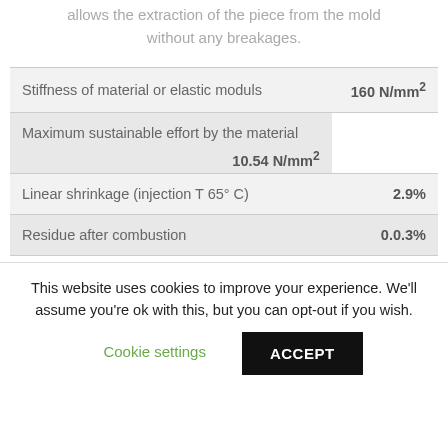allows the extraction of the piece from the mold without any breakages.
| Property | Value |
| --- | --- |
| Stiffness of material or elastic moduls | 160 N/mm² |
| Maximum sustainable effort by the material | 10.54 N/mm² |
| Linear shrinkage (injection T 65° C) | 2.9% |
| Residue after combustion | 0.0.3% |
This website uses cookies to improve your experience. We'll assume you're ok with this, but you can opt-out if you wish.
Cookie settings   ACCEPT